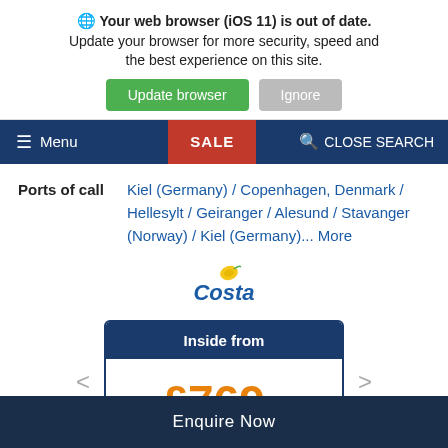🌐 Your web browser (iOS 11) is out of date. Update your browser for more security, speed and the best experience on this site.
Update browser | Ignore
[Figure (screenshot): Navigation bar with Menu, SALE, and CLOSE SEARCH options on dark blue background]
Ports of call: Kiel (Germany) / Copenhagen, Denmark / Hellesylt / Geiranger / Alesund / Stavanger (Norway) / Kiel (Germany)... More
[Figure (logo): Costa Cruises logo]
Inside from £769 pp
Enquire Now